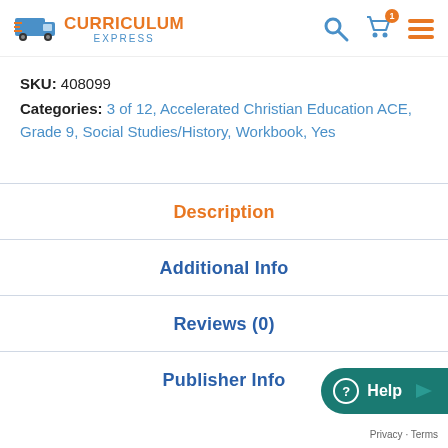Curriculum Express
SKU: 408099
Categories: 3 of 12, Accelerated Christian Education ACE, Grade 9, Social Studies/History, Workbook, Yes
Description
Additional Info
Reviews (0)
Publisher Info
Privacy · Terms